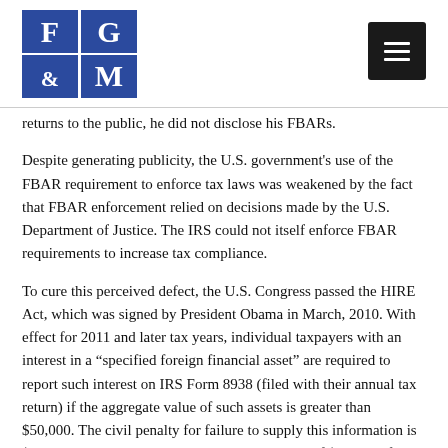FG&M logo and navigation menu
returns to the public, he did not disclose his FBARs.
Despite generating publicity, the U.S. government's use of the FBAR requirement to enforce tax laws was weakened by the fact that FBAR enforcement relied on decisions made by the U.S. Department of Justice. The IRS could not itself enforce FBAR requirements to increase tax compliance.
To cure this perceived defect, the U.S. Congress passed the HIRE Act, which was signed by President Obama in March, 2010. With effect for 2011 and later tax years, individual taxpayers with an interest in a “specified foreign financial asset” are required to report such interest on IRS Form 8938 (filed with their annual tax return) if the aggregate value of such assets is greater than $50,000. The civil penalty for failure to supply this information is $10,000, which can be increased to a maximum of $50,000 after IRS notice. Any understatement of federal